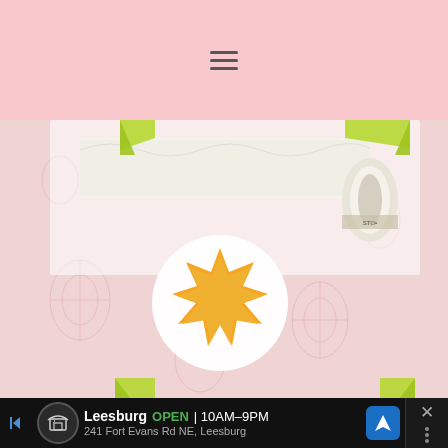≡
[Figure (photo): A crafting photo showing a roll of white tape/paper partially unrolled on a pink floral patterned background with yellow-green tape at corners, and a circular sticker with an orange/yellow sunburst shape in the center.]
Leesburg  OPEN  10AM–9PM  241 Fort Evans Rd NE, Leesburg